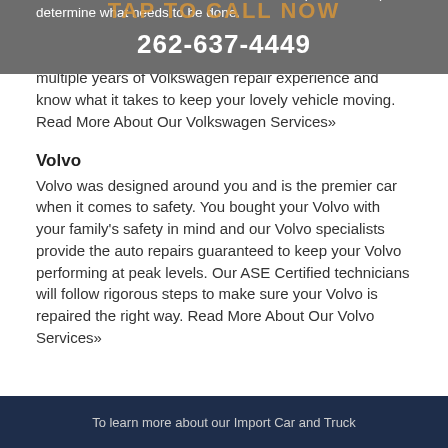Volkswagen repairs. Keep the vehicle you love running smoothly by letting one of our Volkswagen specialists repair your car right. Our ASE Certified technicians have multiple years of Volkswagen repair experience and know what it takes to keep your lovely vehicle moving. Read More About Our Volkswagen Services»
Volvo
Volvo was designed around you and is the premier car when it comes to safety. You bought your Volvo with your family's safety in mind and our Volvo specialists provide the auto repairs guaranteed to keep your Volvo performing at peak levels. Our ASE Certified technicians will follow rigorous steps to make sure your Volvo is repaired the right way. Read More About Our Volvo Services»
For questions about your import or foreign vehicle, contact us at 262-637-4449 or send us an email. Our experts will help determine what needs to be done.
262-637-4449
To learn more about our Import Car and Truck